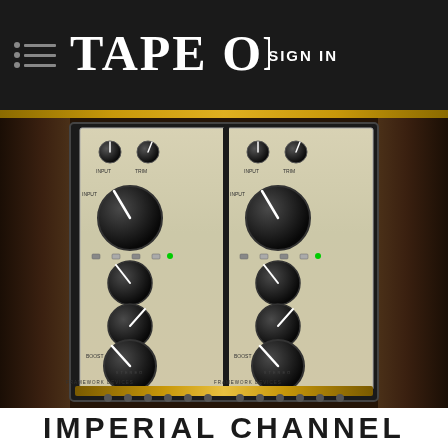TAPE OP | SIGN IN
[Figure (photo): Two Framework Devices Imperial Channel eurorack-style hardware units side by side, showing multiple large black knobs and cream/beige front panels with various controls, mounted in a dark wooden rack enclosure]
IMPERIAL CHANNEL